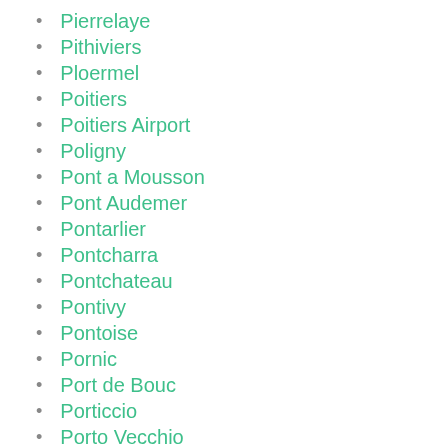Pierrelaye
Pithiviers
Ploermel
Poitiers
Poitiers Airport
Poligny
Pont a Mousson
Pont Audemer
Pontarlier
Pontcharra
Pontchateau
Pontivy
Pontoise
Pornic
Port de Bouc
Porticcio
Porto Vecchio